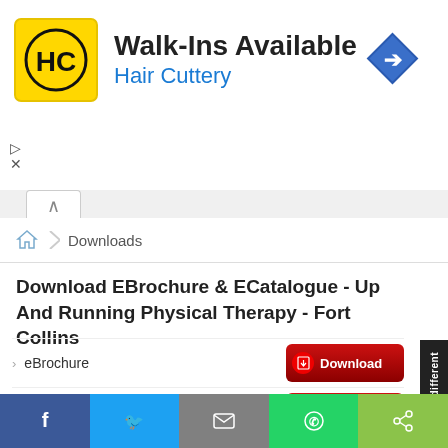[Figure (screenshot): Hair Cuttery advertisement banner with yellow HC logo, 'Walk-Ins Available' text, 'Hair Cuttery' subtitle in blue, and a blue navigation arrow icon on the right]
Downloads
Download EBrochure & ECatalogue - Up And Running Physical Therapy - Fort Collins
eBrochure — Download
Full Catalogue (Premium Version with Photos) — Download
Full Catalogue (Lite Version without Photos) — Download
Physical Therapy — Download